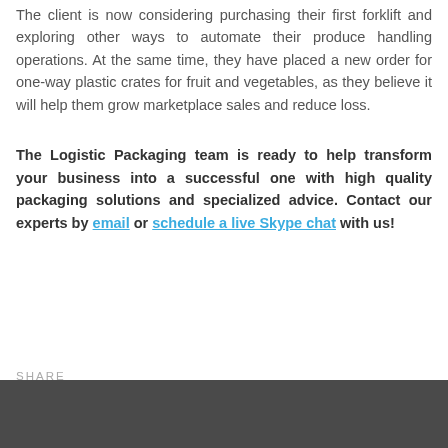The client is now considering purchasing their first forklift and exploring other ways to automate their produce handling operations. At the same time, they have placed a new order for one-way plastic crates for fruit and vegetables, as they believe it will help them grow marketplace sales and reduce loss.
The Logistic Packaging team is ready to help transform your business into a successful one with high quality packaging solutions and specialized advice. Contact our experts by email or schedule a live Skype chat with us!
SHARE